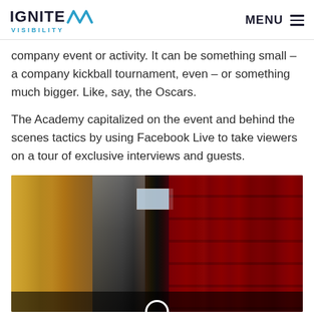IGNITE VISIBILITY | MENU
company event or activity. It can be something small – a company kickball tournament, even – or something much bigger. Like, say, the Oscars.
The Academy capitalized on the event and behind the scenes tactics by using Facebook Live to take viewers on a tour of exclusive interviews and guests.
[Figure (photo): Behind the scenes photo of the Oscars venue showing decorative columns, theatre seating in red, and a screen on stage]